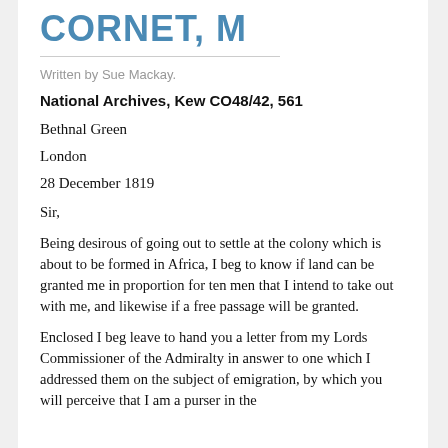CORNET, M
Written by Sue Mackay.
National Archives, Kew CO48/42, 561
Bethnal Green
London
28 December 1819
Sir,
Being desirous of going out to settle at the colony which is about to be formed in Africa, I beg to know if land can be granted me in proportion for ten men that I intend to take out with me, and likewise if a free passage will be granted.
Enclosed I beg leave to hand you a letter from my Lords Commissioner of the Admiralty in answer to one which I addressed them on the subject of emigration, by which you will perceive that I am a purser in the